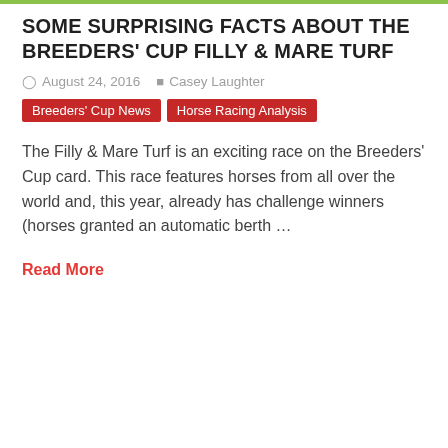SOME SURPRISING FACTS ABOUT THE BREEDERS' CUP FILLY & MARE TURF
August 24, 2016  Casey Laughter
Breeders' Cup News  Horse Racing Analysis
The Filly & Mare Turf is an exciting race on the Breeders' Cup card. This race features horses from all over the world and, this year, already has challenge winners (horses granted an automatic berth …
Read More